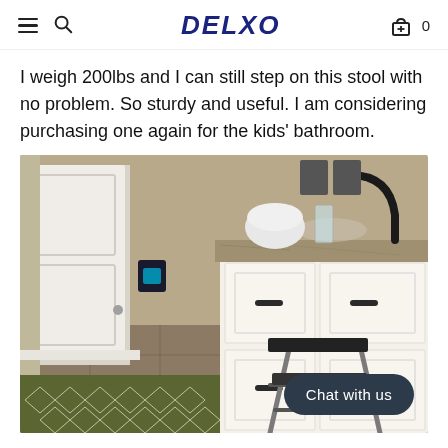DELXO
I weigh 200lbs and I can still step on this stool with no problem. So sturdy and useful. I am considering purchasing one again for the kids' bathroom.
[Figure (photo): Kitchen scene showing a step stool in front of white kitchen cabinets with granite countertop, kitchen sink with dark faucet, and a partial view of a doorway. A green and white patterned rug is on the floor. A small blue light is visible near the door.]
Chat with us